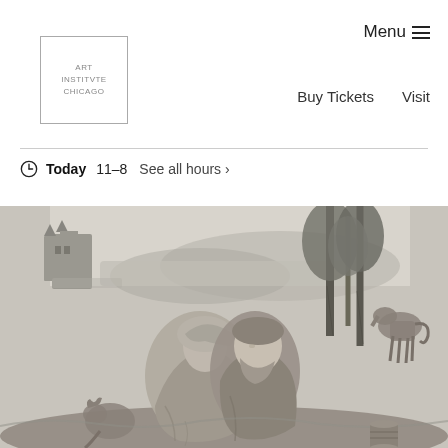[Figure (logo): Art Institute of Chicago logo — rectangular border with text ART INSTITVTE CHICAGO]
Menu ☰
Buy Tickets   Visit
🕐 Today  11–8  See all hours ›
[Figure (photo): A black and white engraving depicting an older bearded man and a young woman seated together in a landscape, with trees, a castle or building in the background near water, and a donkey visible in the right background. A cat or small animal is at lower left.]